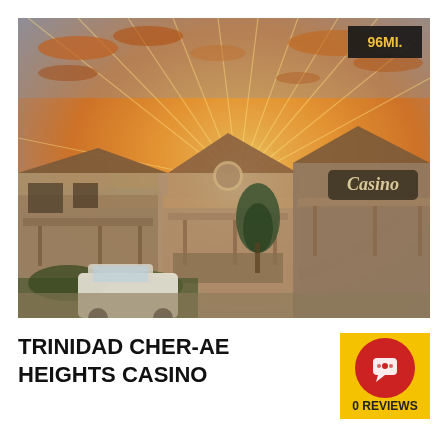[Figure (photo): Exterior photo of Trinidad Cher-Ae Heights Casino at sunset, with warm orange and golden sky with radiating sunbeams, multiple building sections with covered porticos and a Casino sign on the right building. A white vehicle is visible in the foreground. Distance badge showing 96MI. in gold text on dark background in the top-right corner.]
TRINIDAD CHER-AE HEIGHTS CASINO
0 REVIEWS